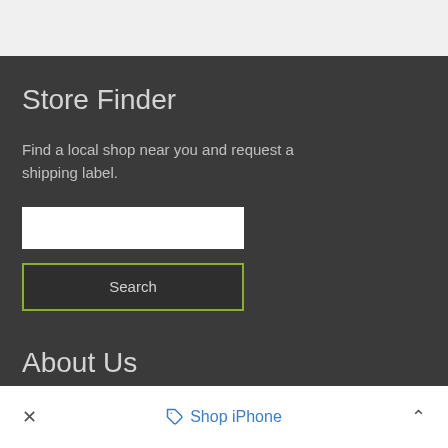Store Finder
Find a local shop near you and request a shipping label.
[Figure (other): White text input search box]
[Figure (other): Search button with green border]
About Us
× 🏷 Shop iPhone ^